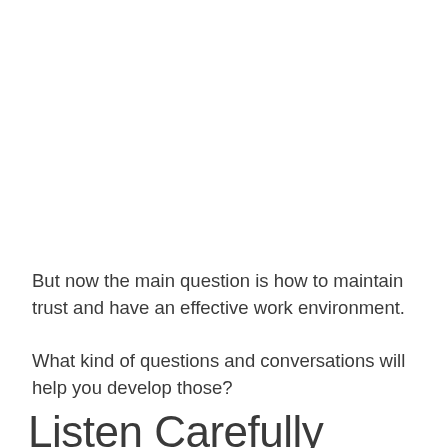But now the main question is how to maintain trust and have an effective work environment.
What kind of questions and conversations will help you develop those?
Listen Carefully